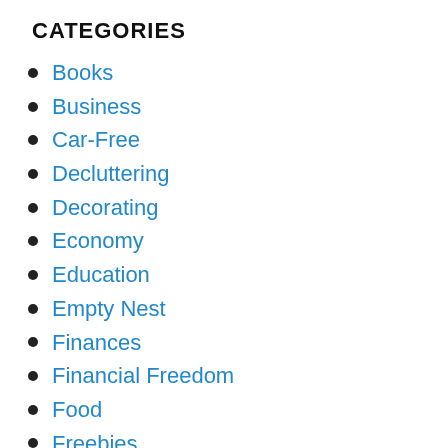CATEGORIES
Books
Business
Car-Free
Decluttering
Decorating
Economy
Education
Empty Nest
Finances
Financial Freedom
Food
Freebies
Frugality
Future Me